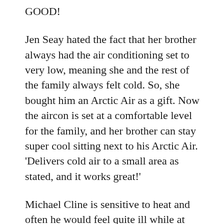GOOD!
Jen Seay hated the fact that her brother always had the air conditioning set to very low, meaning she and the rest of the family always felt cold. So, she bought him an Arctic Air as a gift. Now the aircon is set at a comfortable level for the family, and her brother can stay super cool sitting next to his Arctic Air. 'Delivers cold air to a small area as stated, and it works great!'
Michael Cline is sensitive to heat and often he would feel quite ill while at work due to management not willing to invest in any kind of proper cooling system.  He bought Arctic Air and set it up in his office cubicle. 'I have taken it upon myself to fix this issue myself. And boy has this fixed the issue!' Now he can work at his desk feeling cool and the 10 other people in his office